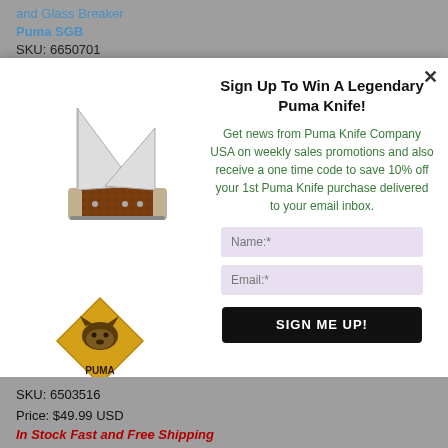and Glass Breaker
Puma SGB
SKU: 6650701
Price: $54.99 USD
[Figure (photo): Puma folding knife with brown bone handle and two blades open, plus Puma diamond logo.]
Sign Up To Win A Legendary Puma Knife!
Get news from Puma Knife Company USA on weekly sales promotions and also receive a one time code to save 10% off your 1st Puma Knife purchase delivered to your email inbox.
Name:*
Email:*
SIGN ME UP!
SKU: 6503516
Price: $49.99 USD
In Stock Fast and Free Shipping